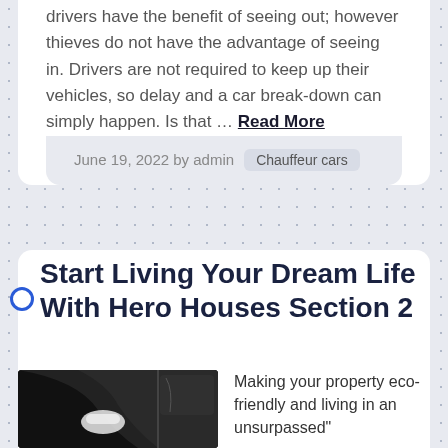drivers have the benefit of seeing out; however thieves do not have the advantage of seeing in. Drivers are not required to keep up their vehicles, so delay and a car break-down can simply happen. Is that … Read More
June 19, 2022 by admin   Chauffeur cars
Start Living Your Dream Life With Hero Houses Section 2
[Figure (photo): A chauffeur in white gloves opening a black car door]
Making your property eco-friendly and living in an unsurpassed